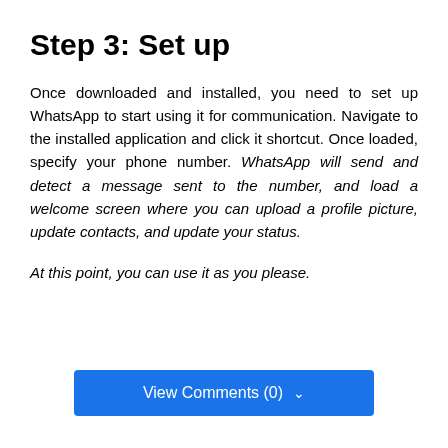Step 3: Set up
Once downloaded and installed, you need to set up WhatsApp to start using it for communication. Navigate to the installed application and click it shortcut. Once loaded, specify your phone number. WhatsApp will send and detect a message sent to the number, and load a welcome screen where you can upload a profile picture, update contacts, and update your status.
At this point, you can use it as you please.
View Comments (0)  ∨